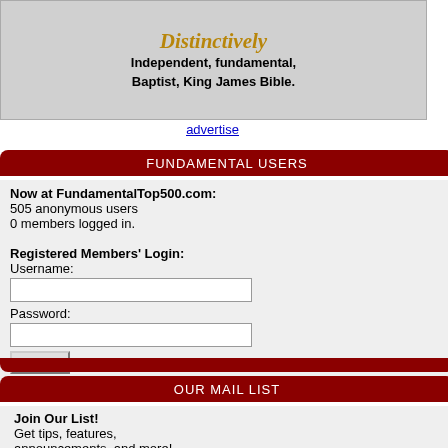[Figure (other): Banner advertisement: 'Distinctively Independent, fundamental, Baptist, King James Bible.']
advertise
FUNDAMENTAL USERS
Now at FundamentalTop500.com:
505 anonymous users
0 members logged in.
Registered Members' Login:
Username:
Password:
Log In   Register Now!
Forgot My Password
OUR MAIL LIST
Join Our List!
Get tips, features, announcements, and more!
Your E-mail:
| # | Name | 0 | 0 |
| --- | --- | --- | --- |
| 77 | Olive Tree Web Hosting | 0 | 0 |
| 78 | CURTIS CORNER BAPTIST CHURCH | 0 | 0 |
| 79 | Fortress of Faith | 0 | 0 |
| 80 | Pictures of Jesus | 0 | 0 |
| 81 | Evangelist Jeremy Hull | 0 | 0 |
| 82 | Calvinisms Other Side | 0 | 0 |
| 83 | Church Web Design | 0 | 0 |
| 84 | Taylor's Calling | 0 | 0 |
| 85 | bbcothello.com | 0 | 0 |
| 86 | Do Right Christians | 0 | 0 |
| 87 | purity rings for girls | 0 | 0 |
| 88 | AUNG LAN BAPTIST CHURCH, Aung Lan, Myanmar | 0 | 0 |
| 89 | Baptist Radio Network | 0 | 0 |
| 90 | Beary Blessed Cabin | 0 | 0 |
| 91 | Philippines For Jesus | 0 | 6 |
| 92 | Woodbridge Baptist Church | 0 | 0 |
| 93 | REMEMBER YOUR FAITH | 0 | 0 |
| 94 | Bible Baptist Church - Katipunan | 0 | 0 |
| 95 | Know Your Saved | 0 | 0 |
| 96 | AUNG LAN BAPTIST CHURCH, Aung Lan, Myanmar | 0 | 0 |
| 97 | Bleeding Bird Ministries | 0 | 0 |
| 98 | Independent Baptsit.Com | 0 | 0 |
| 99 | Independent Baptsit.Com | 0 | 0 |
| 100 | Independent Baptsit.Com | 0 | 0 |